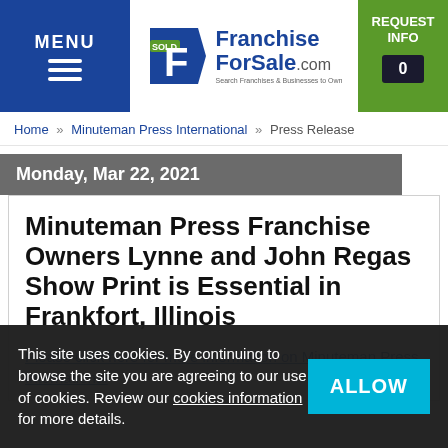MENU | FranchiseForSale.com | REQUEST INFO 0
Home » Minuteman Press International » Press Release
Monday, Mar 22, 2021
Minuteman Press Franchise Owners Lynne and John Regas Show Print is Essential in Frankfort, Illinois
Please click here for more information on Minuteman Press International
This site uses cookies. By continuing to browse the site you are agreeing to our use of cookies. Review our cookies information for more details.